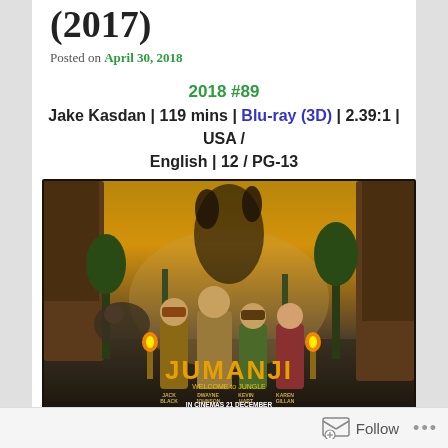(2017)
Posted on April 30, 2018
2018 #89
Jake Kasdan | 119 mins | Blu-ray (3D) | 2.39:1 | USA / English | 12 / PG-13
[Figure (photo): Movie poster for Jumanji: Welcome to the Jungle featuring Jack Black, Dwayne Johnson, Kevin Hart, and Karen Gillan in a jungle setting with the text 'IN CINEMAS 21 DECEMBER']
Follow ...